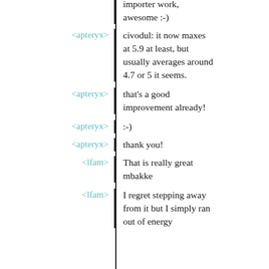importer work, awesome :-)
<apteryx> civodul: it now maxes at 5.9 at least, but usually averages around 4.7 or 5 it seems.
<apteryx> that's a good improvement already!
<apteryx> :-)
<apteryx> thank you!
<lfam> That is really great mbakke
<lfam> I regret stepping away from it but I simply ran out of energy